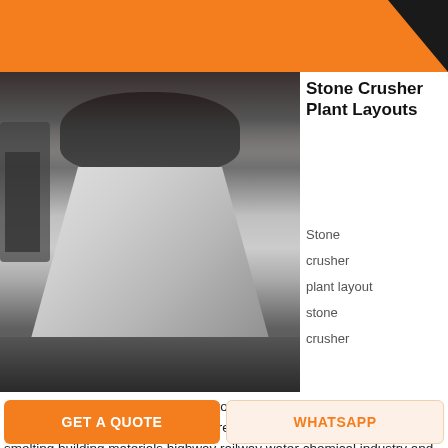ge cr
[Figure (photo): Industrial cone crusher parts — large cone-shaped metal components in a factory/warehouse setting, with heavy cast iron pieces in background]
Stone Crusher Plant Layouts
Stone crusher plant layout stone crusher
plant layout structure and appliion stone crusher plant layout is widely used for medium crushing various ores and bulk materials in mining smelting building materials highway railway water chemical industry and other industries the crushed materials are.
GET PRICE
GET A QUOTE
WHATSAPP